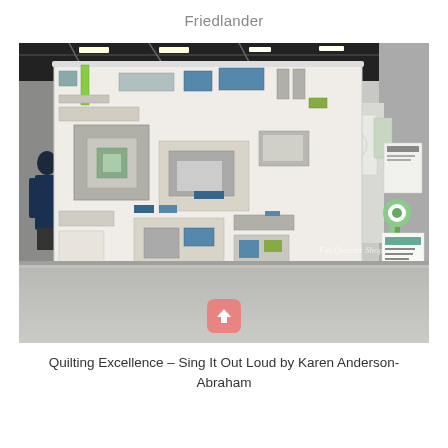Friedlander
[Figure (photo): A large modern quilt displayed on a hanging rod at a quilting exhibition in a convention center. The quilt features an abstract geometric design in muted tones of gray, white, beige, and teal/blue-green accents. A person in a blue jacket stands to the left viewing the quilt. In the background, other quilts are displayed on partitions. An award rosette and signage are visible on the right side. The convention hall has industrial ceiling with lights and trusses. A watermark reads 'Fat Quarter Shop' in the lower right corner.]
Quilting Excellence – Sing It Out Loud by Karen Anderson-Abraham